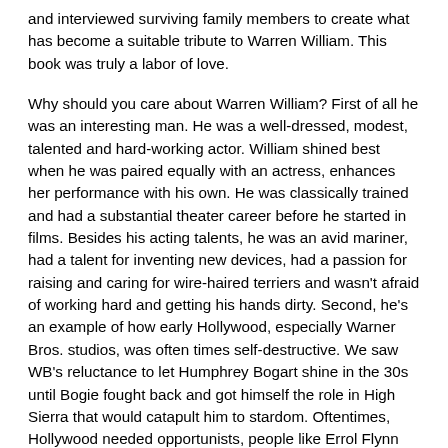and interviewed surviving family members to create what has become a suitable tribute to Warren William. This book was truly a labor of love.
Why should you care about Warren William? First of all he was an interesting man. He was a well-dressed, modest, talented and hard-working actor. William shined best when he was paired equally with an actress, enhances her performance with his own. He was classically trained and had a substantial theater career before he started in films. Besides his acting talents, he was an avid mariner, had a talent for inventing new devices, had a passion for raising and caring for wire-haired terriers and wasn't afraid of working hard and getting his hands dirty. Second, he's an example of how early Hollywood, especially Warner Bros. studios, was often times self-destructive. We saw WB's reluctance to let Humphrey Bogart shine in the 30s until Bogie fought back and got himself the role in High Sierra that would catapult him to stardom. Oftentimes, Hollywood needed opportunists, people like Errol Flynn and Bette Davis, to show them what they were missing. Talented, hard-working and responsible actors like Warren William were